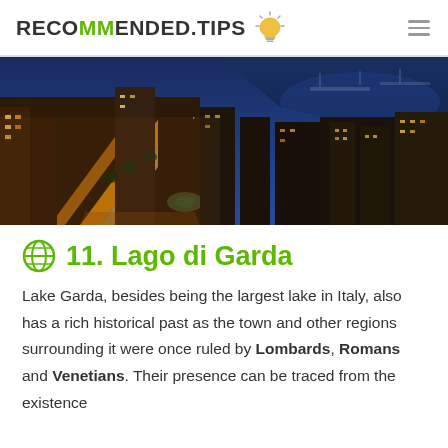RECOMMENDED.TIPS
[Figure (photo): Aerial night view of an Italian coastal city with illuminated streets, buildings, and a harbor with boats]
🌐 11. Lago di Garda
Lake Garda, besides being the largest lake in Italy, also has a rich historical past as the town and other regions surrounding it were once ruled by Lombards, Romans and Venetians. Their presence can be traced from the existence